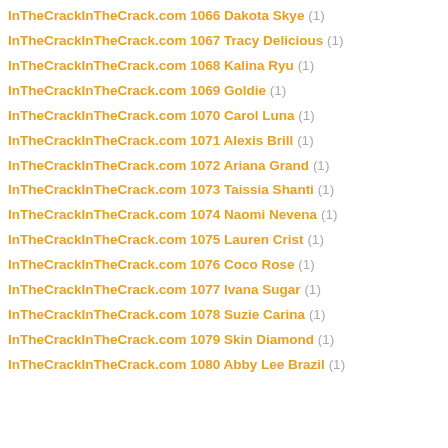InTheCrackInTheCrack.com 1066 Dakota Skye (1)
InTheCrackInTheCrack.com 1067 Tracy Delicious (1)
InTheCrackInTheCrack.com 1068 Kalina Ryu (1)
InTheCrackInTheCrack.com 1069 Goldie (1)
InTheCrackInTheCrack.com 1070 Carol Luna (1)
InTheCrackInTheCrack.com 1071 Alexis Brill (1)
InTheCrackInTheCrack.com 1072 Ariana Grand (1)
InTheCrackInTheCrack.com 1073 Taissia Shanti (1)
InTheCrackInTheCrack.com 1074 Naomi Nevena (1)
InTheCrackInTheCrack.com 1075 Lauren Crist (1)
InTheCrackInTheCrack.com 1076 Coco Rose (1)
InTheCrackInTheCrack.com 1077 Ivana Sugar (1)
InTheCrackInTheCrack.com 1078 Suzie Carina (1)
InTheCrackInTheCrack.com 1079 Skin Diamond (1)
InTheCrackInTheCrack.com 1080 Abby Lee Brazil (1)